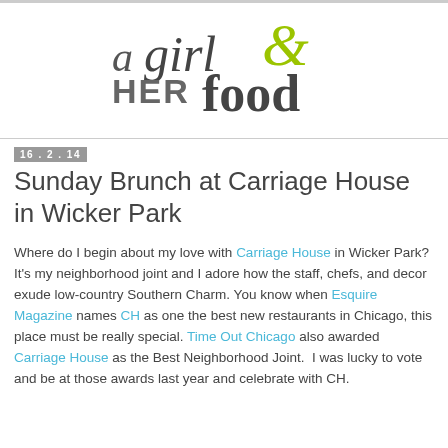[Figure (logo): A Girl & Her Food blog logo with stylized script text 'a girl' in dark gray, an ampersand in lime green, 'HER' in gray sans-serif capitals, and 'food' in large dark gray serif letters]
16 . 2 . 14
Sunday Brunch at Carriage House in Wicker Park
Where do I begin about my love with Carriage House in Wicker Park? It's my neighborhood joint and I adore how the staff, chefs, and decor exude low-country Southern Charm. You know when Esquire Magazine names CH as one the best new restaurants in Chicago, this place must be really special. Time Out Chicago also awarded Carriage House as the Best Neighborhood Joint.  I was lucky to vote and be at those awards last year and celebrate with CH.